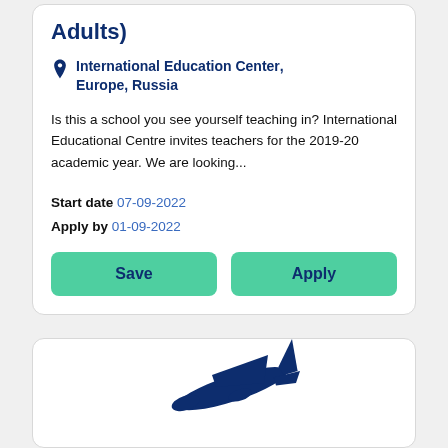Adults)
International Education Center, Europe, Russia
Is this a school you see yourself teaching in? International Educational Centre invites teachers for the 2019-20 academic year. We are looking...
Start date 07-09-2022
Apply by 01-09-2022
[Figure (illustration): Airplane icon in dark navy blue color, partially visible at bottom of second card]